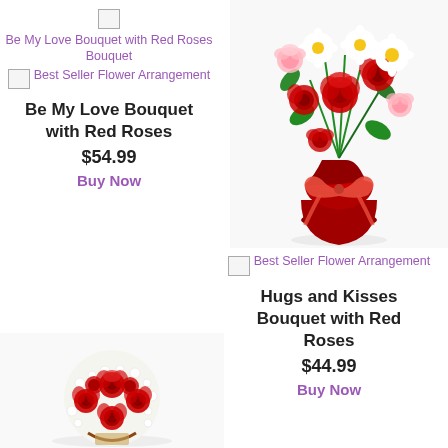[Figure (photo): Broken image icon with purple label text 'Be My Love Bouquet with Red Roses Bouquet']
[Figure (photo): Broken image icon with purple label text 'Best Seller Flower Arrangement']
Be My Love Bouquet with Red Roses
$54.99
Buy Now
[Figure (photo): Flower bouquet in red vase with red roses, white daisies, and pink carnations tied with a red ribbon, placed on right side top area]
[Figure (photo): Broken image icon with purple label text 'Best Seller Flower Arrangement']
Hugs and Kisses Bouquet with Red Roses
$44.99
Buy Now
[Figure (photo): Round bouquet of red roses and white flowers at the bottom left of the page]